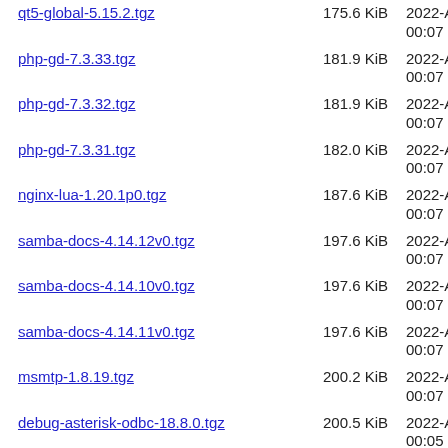qt5-global-5.15.2.tgz  175.6 KiB  2022-Apr-21 00:07
php-gd-7.3.33.tgz  181.9 KiB  2022-Apr-21 00:07
php-gd-7.3.32.tgz  181.9 KiB  2022-Apr-21 00:07
php-gd-7.3.31.tgz  182.0 KiB  2022-Apr-21 00:07
nginx-lua-1.20.1p0.tgz  187.6 KiB  2022-Apr-21 00:07
samba-docs-4.14.12v0.tgz  197.6 KiB  2022-Apr-21 00:07
samba-docs-4.14.10v0.tgz  197.6 KiB  2022-Apr-21 00:07
samba-docs-4.14.11v0.tgz  197.6 KiB  2022-Apr-21 00:07
msmtp-1.8.19.tgz  200.2 KiB  2022-Apr-21 00:07
debug-asterisk-odbc-18.8.0.tgz  200.5 KiB  2022-Apr-21 00:05
debug-asterisk-odbc-18.10.1.tgz  201.5 KiB  2022-Apr-21 00:05